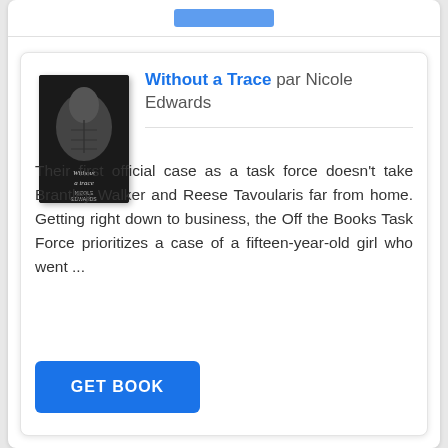[Figure (illustration): Book cover of 'Without a Trace' by Nicole Edwards showing a shirtless man]
Without a Trace par Nicole Edwards
Their first official case as a task force doesn't take Brantley Walker and Reese Tavoularis far from home. Getting right down to business, the Off the Books Task Force prioritizes a case of a fifteen-year-old girl who went ...
GET BOOK